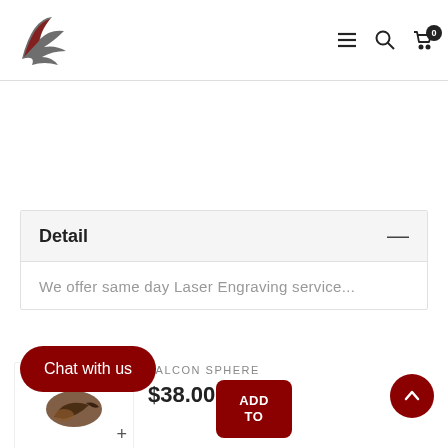Falcon Sphere website header with logo and navigation icons (hamburger menu, search, cart with 0 items)
Detail
We offer same day Laser Engraving service...
FALCON SPHERE
$38.00
Chat with us
ADD TO